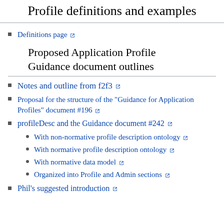Profile definitions and examples
Definitions page
Proposed Application Profile Guidance document outlines
Notes and outline from f2f3
Proposal for the structure of the "Guidance for Application Profiles" document #196
profileDesc and the Guidance document #242
With non-normative profile description ontology
With normative profile description ontology
With normative data model
Organized into Profile and Admin sections
Phil's suggested introduction